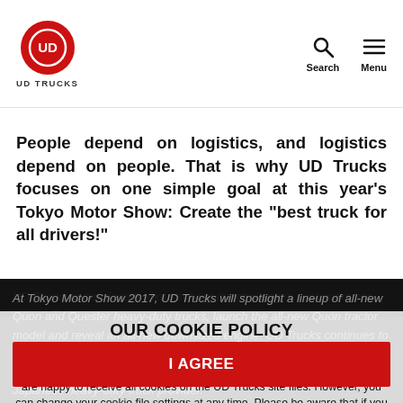[Figure (logo): UD Trucks logo — circular red badge with 'UD' in white, and 'UD TRUCKS' text below]
People depend on logistics, and logistics depend on people. That is why UD Trucks focuses on one simple goal at this year's Tokyo Motor Show: Create the "best truck for all drivers!"
At Tokyo Motor Show 2017, UD Trucks will spotlight a lineup of all-new Quon and Quester heavy-duty trucks, launch the all-new Quon tractor model and reveal an all-new downsized engine. UD Trucks continues to broaden its heavy-duty product lineup to better meet the needs of the transport industry, underscoring its goal of becoming the leading Japanese heavy-duty truck provider.
OUR COOKIE POLICY
We use cookies to ensure that we offer you the best experience on our website. If you're still without changing your settings, we will assume that you are happy to receive all cookies on the UD Trucks site files. However, you can change your cookie file settings at any time. Please be aware that if you change your cookie settings, functions of the site may be lost, at which time you may not be able to see some of the sites.
UD Trucks is passionate about solving the challenges customers are facing. This passion, to provide the trucks and services the world needs today, has driven its commitment to innovation for over 80 years. In a time of severe driver shortages, UD Trucks is committed to
I AGREE